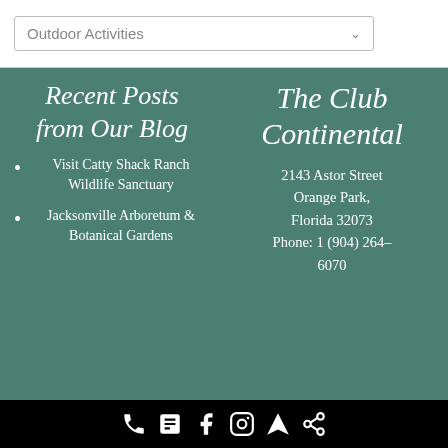Outdoor Activities
Recent Posts from Our Blog
Visit Catty Shack Ranch Wildlife Sanctuary
Jacksonville Arboretum & Botanical Gardens
The Club Continental
2143 Astor Street Orange Park, Florida 32073 Phone: 1 (904) 264-6070
[Figure (infographic): Footer bar with social/contact icons: phone, notepad, Facebook, Instagram, navigation arrow, share]